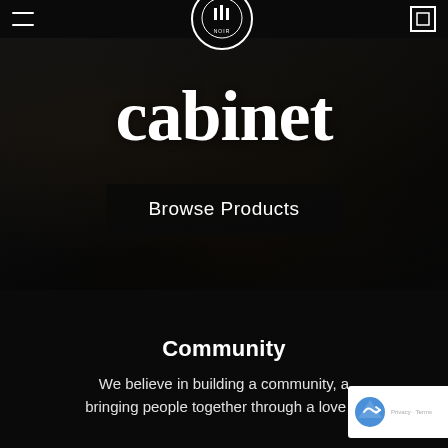Navigation bar with menu icon, logo (CABINET NOIR), and cart icon
cabinet
Browse Products
Community
We believe in building a community, a bringing people together through a love of